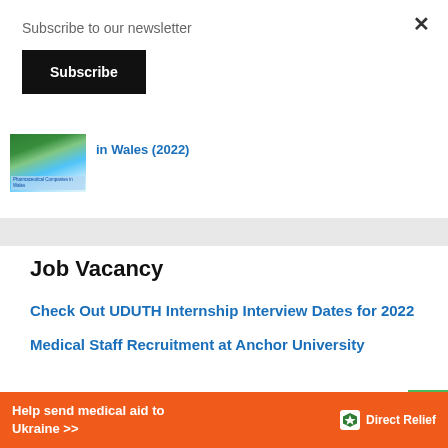Subscribe to our newsletter
Subscribe
in Wales (2022)
Job Vacancy
Check Out UDUTH Internship Interview Dates for 2022
Medical Staff Recruitment at Anchor University
Help send medical aid to Ukraine >>